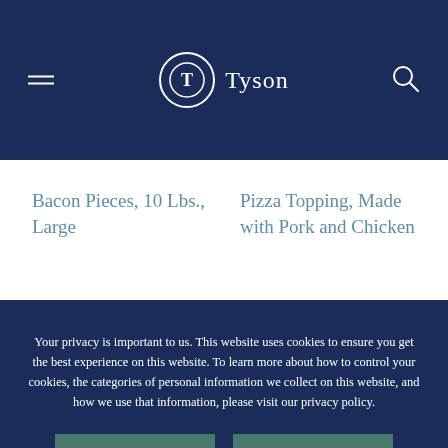Tyson
Bacon Pieces, 10 Lbs., Large
Pizza Topping, Made with Pork and Chicken
Your privacy is important to us. This website uses cookies to ensure you get the best experience on this website. To learn more about how to control your cookies, the categories of personal information we collect on this website, and how we use that information, please visit our privacy policy.
LEARN MORE
ACCEPT